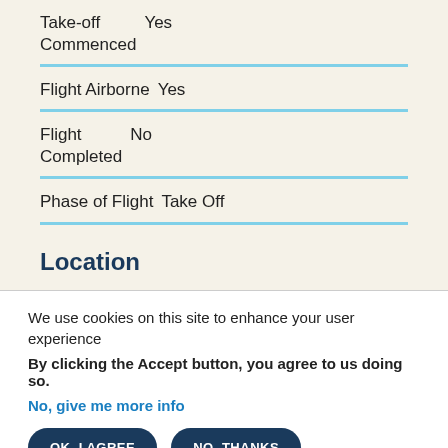Take-off Commenced   Yes
Flight Airborne   Yes
Flight Completed   No
Phase of Flight   Take Off
Location
We use cookies on this site to enhance your user experience
By clicking the Accept button, you agree to us doing so.
No, give me more info
OK, I AGREE
NO, THANKS